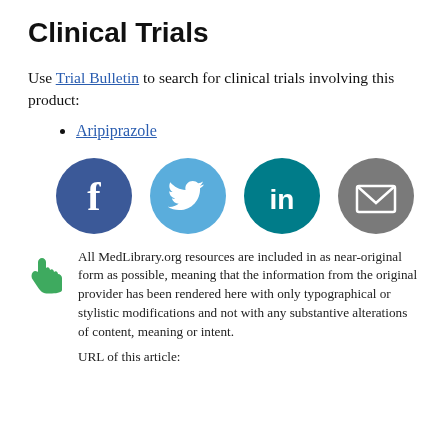Clinical Trials
Use Trial Bulletin to search for clinical trials involving this product:
Aripiprazole
[Figure (infographic): Four social media sharing icons in circles: Facebook (dark navy), Twitter (light blue), LinkedIn (dark teal), Email/envelope (gray)]
All MedLibrary.org resources are included in as near-original form as possible, meaning that the information from the original provider has been rendered here with only typographical or stylistic modifications and not with any substantive alterations of content, meaning or intent.
URL of this article: